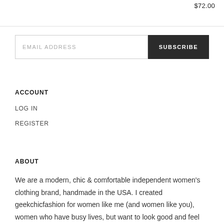$72.00
[Figure (other): Email subscription input field with placeholder 'EMAIL ADDRESS' and a dark 'SUBSCRIBE' button]
ACCOUNT
LOG IN
REGISTER
ABOUT
We are a modern, chic & comfortable independent women's clothing brand, handmade in the USA. I created geekchicfashion for women like me (and women like you), women who have busy lives, but want to look good and feel comfortable. Our jersey skirts and tops are just that: comfortable, versatile yet chic